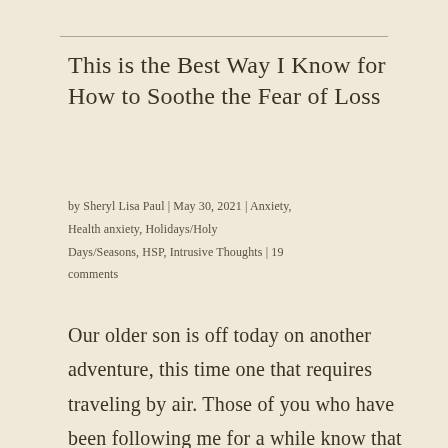This is the Best Way I Know for How to Soothe the Fear of Loss
by Sheryl Lisa Paul | May 30, 2021 | Anxiety, Health anxiety, Holidays/Holy Days/Seasons, HSP, Intrusive Thoughts | 19 comments
Our older son is off today on another adventure, this time one that requires traveling by air. Those of you who have been following me for a while know that Everest is an aviator, got his pilot's